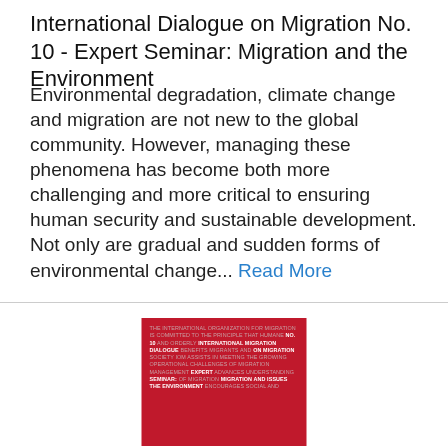International Dialogue on Migration No. 10 - Expert Seminar: Migration and the Environment
Environmental degradation, climate change and migration are not new to the global community. However, managing these phenomena has become both more challenging and more critical to ensuring human security and sustainable development. Not only are gradual and sudden forms of environmental change... Read More
[Figure (photo): Cover of IOM publication: International Dialogue on Migration No. 10, Expert Seminar: Migration and the Environment. Red cover with small white and highlighted text repeating phrases about IOM's mission.]